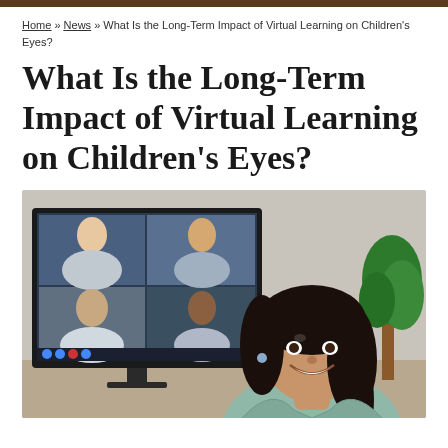Home » News » What Is the Long-Term Impact of Virtual Learning on Children's Eyes?
What Is the Long-Term Impact of Virtual Learning on Children's Eyes?
[Figure (photo): A smiling young girl with braided hair sitting in front of a computer monitor displaying a video conference with multiple participants. A green plant is visible in the background to the right.]